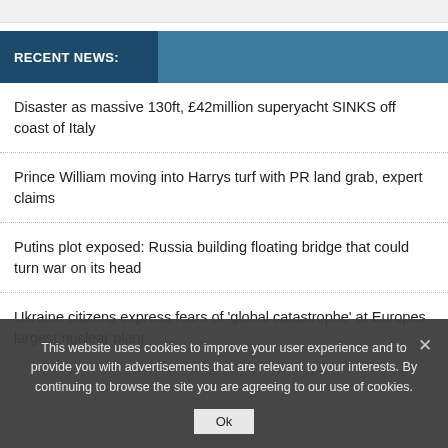RECENT NEWS:
Disaster as massive 130ft, £42million superyacht SINKS off coast of Italy
Prince William moving into Harrys turf with PR land grab, expert claims
Putins plot exposed: Russia building floating bridge that could turn war on its head
Ukraine citizens express fears of 'global catastrophe' at Europes largest nuclear plant
This website uses cookies to improve your user experience and to provide you with advertisements that are relevant to your interests. By continuing to browse the site you are agreeing to our use of cookies.
Ok